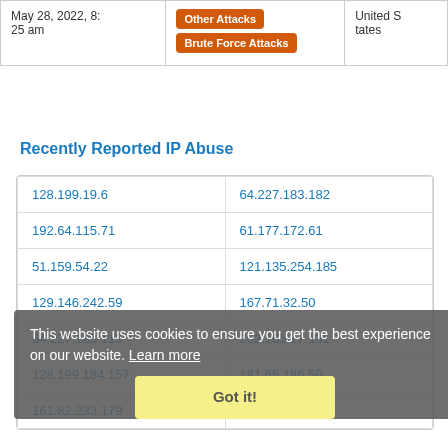| Date | Attack Type | Location |
| --- | --- | --- |
| May 28, 2022, 8:25 am | Other Attacks | Brute Force Attacks | United States |
Recently Reported IP Abuse
| 128.199.19.6 | 64.227.183.182 |
| 192.64.115.71 | 61.177.172.61 |
| 51.159.54.22 | 121.135.254.185 |
| 129.146.242.59 | 167.71.32.50 |
| 64.227.185.119 | 202.165.17.131 |
| 128.199.184.157 | 181.65.186.50 |
| 161.82.233.179 | 107.173.25.166 |
This website uses cookies to ensure you get the best experience on our website. Learn more
Got it!